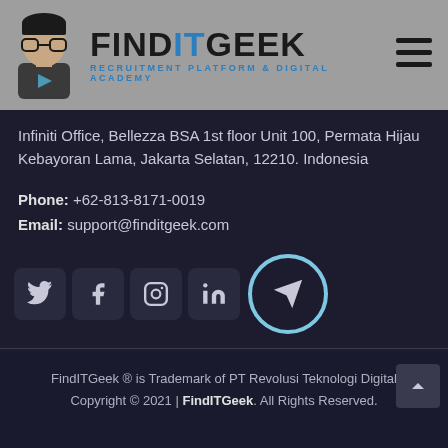[Figure (logo): FindITGeek logo with avatar character and text FINDITGEEK RECRUITMENT PLATFORM & DIGITAL ACADEMY]
Infiniti Office, Bellezza BSA 1st floor Unit 100, Permata Hijau Kebayoran Lama, Jakarta Selatan, 12210. Indonesia
Phone: +62-813-8171-0019
Email: support@finditgeek.com
[Figure (infographic): Social media icons row: Twitter, Facebook, Instagram, LinkedIn, Telegram (with loading circle overlay)]
FindITGeek ® is Trademark of PT Revolusi Teknologi Digital
Copyright © 2021 | FindITGeek. All Rights Reserved.